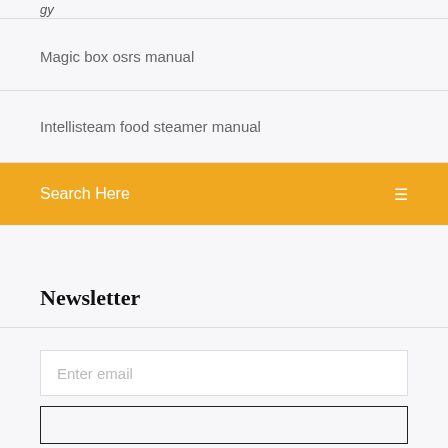Magic box osrs manual
Intellisteam food steamer manual
Search Here
Newsletter
Enter email